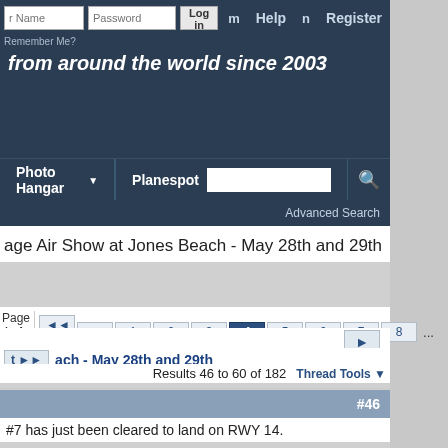User Name | Password | Log in | Help | Register
Remember Me?
...from around the world since 2003
Photo Hangar ▼  |  Planespot  [search box]  🔍
Advanced Search
age Air Show at Jones Beach - May 28th and 29th
Page 4 of 13  ◄◄ First  ◄  1  2  3  4  5  6  7  8  ...
t ►► ach - May 28th and 29th
Results 46 to 60 of 182
Thread Tools ▼
#46
#7 has just been cleared to land on RWY 14.